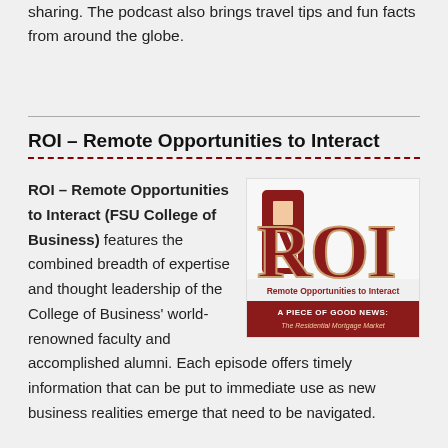sharing. The podcast also brings travel tips and fun facts from around the globe.
ROI – Remote Opportunities to Interact
ROI – Remote Opportunities to Interact (FSU College of Business) features the combined breadth of expertise and thought leadership of the College of Business' world-renowned faculty and accomplished alumni. Each episode offers timely information that can be put to immediate use as new business realities emerge that need to be navigated.
[Figure (logo): ROI – Remote Opportunities to Interact podcast logo from FSU College of Business, with text 'A PIECE OF GOOD NEWS: The Residential Mortgage Market']